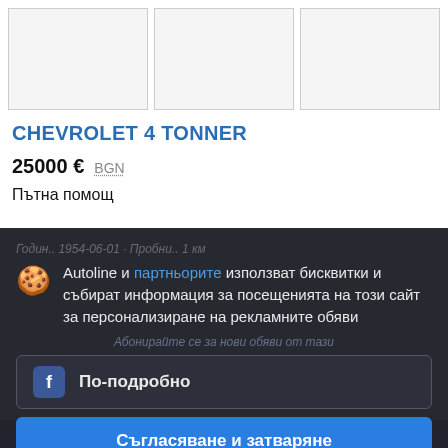[Figure (photo): Three white/empty image placeholder boxes arranged horizontally at the top of a vehicle listing page]
CHEVROLET 4 TONNER
25000 € BGN
Пътна помощ
Autoline и партньорите използват бисквитки и събират информация за посещенията на този сайт за персонализиране на рекламните обяви
По-подробно
Съгласяване и затваряне